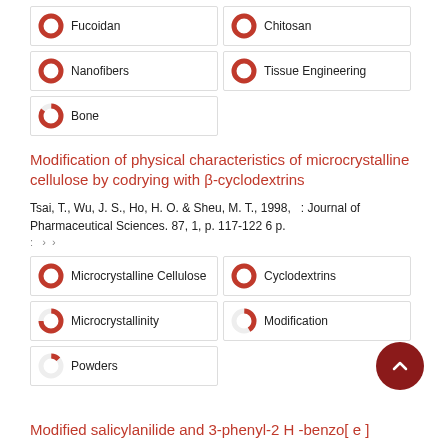Fucoidan
Chitosan
Nanofibers
Tissue Engineering
Bone
Modification of physical characteristics of microcrystalline cellulose by codrying with β-cyclodextrins
Tsai, T., Wu, J. S., Ho, H. O. & Sheu, M. T., 1998, : Journal of Pharmaceutical Sciences. 87, 1, p. 117-122 6 p.
Microcrystalline Cellulose
Cyclodextrins
Microcrystallinity
Modification
Powders
Modified salicylanilide and 3-phenyl-2 H -benzo[ e ]